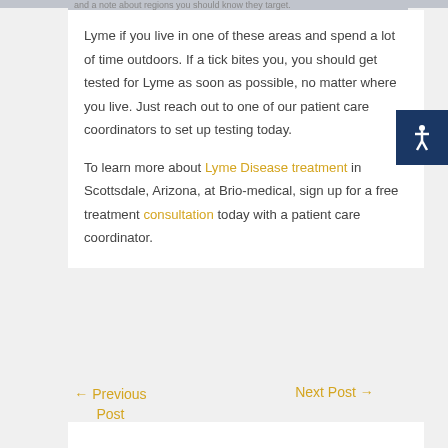…and some about regions you should know they target.
Lyme if you live in one of these areas and spend a lot of time outdoors. If a tick bites you, you should get tested for Lyme as soon as possible, no matter where you live. Just reach out to one of our patient care coordinators to set up testing today.
To learn more about Lyme Disease treatment in Scottsdale, Arizona, at Brio-medical, sign up for a free treatment consultation today with a patient care coordinator.
← Previous Post   Next Post →